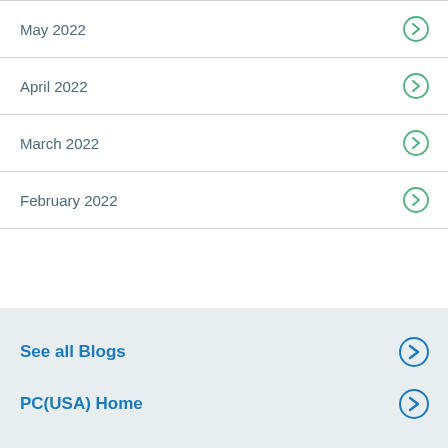May 2022
April 2022
March 2022
February 2022
See all Blogs
PC(USA) Home